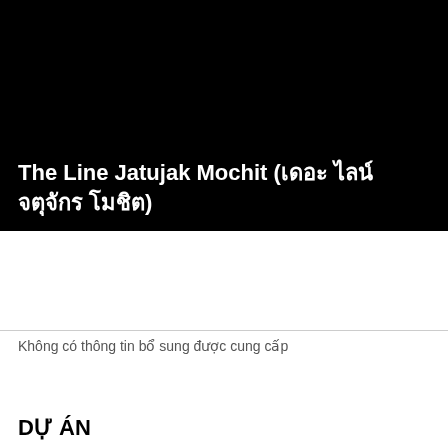[Figure (photo): Black banner/image area at the top of the page]
The Line Jatujak Mochit (เดอะ ไลน์ จตุจักร โมชิต)
Không có thông tin bổ sung được cung cấp
DỰ ÁN